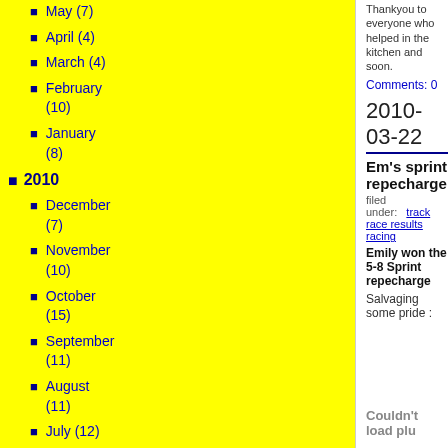May (7)
April (4)
March (4)
February (10)
January (8)
2010
December (7)
November (10)
October (15)
September (11)
August (11)
July (12)
Thankyou to everyone who helped in the kitchen and soon.
Comments: 0
2010-03-22
Em's sprint repecharge
filed under: track race results racing
Emily won the 5-8 Sprint repecharge
Salvaging some pride :
Couldn't load plu